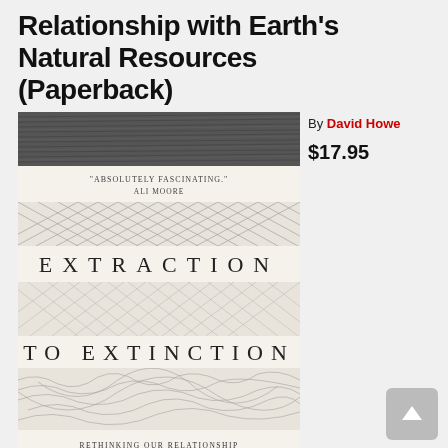Relationship with Earth's Natural Resources (Paperback)
[Figure (illustration): Book cover for 'Extraction to Extinction: Rethinking Our Relationship with Earth's Natural Resources' by David Howe. The cover features abstract line-pattern bands in grayscale with the title text in spaced serif lettering.]
By David Howe
$17.95